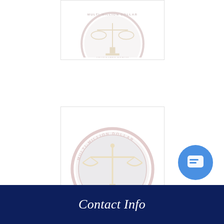[Figure (logo): Multi-Million Dollar Advocates Forum seal/logo (top, partially visible, faded)]
[Figure (logo): Multi-Million Dollar Advocates Forum seal/logo (bottom, full, faded pink/gray tones with scales of justice)]
Awards
Contact Info